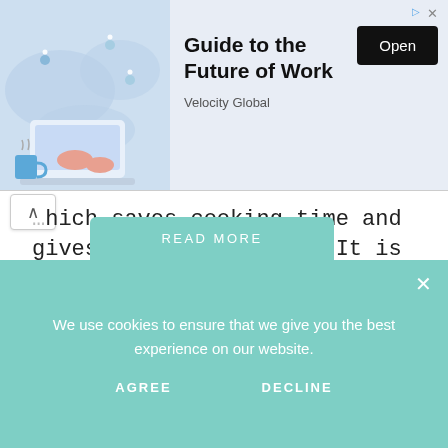[Figure (illustration): Advertisement banner with illustration of person working on laptop with a world map background, promoting 'Guide to the Future of Work' by Velocity Global with an Open button]
…which saves cooking time and gives a better flavor. It is very easily available in the market. Vermicellis are made…
READ MORE
We use cookies to ensure that we give you the best experience on our website.
AGREE    DECLINE